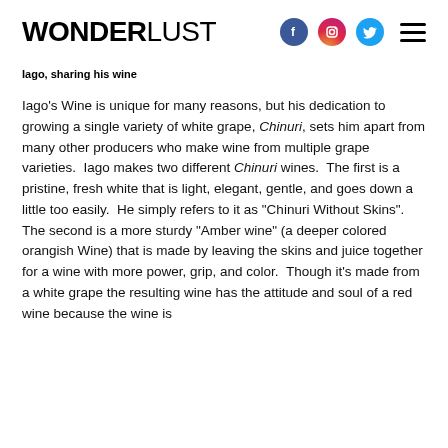WONDERLUST
Iago, sharing his wine
Iago’s Wine is unique for many reasons, but his dedication to growing a single variety of white grape, Chinuri, sets him apart from many other producers who make wine from multiple grape varieties.  Iago makes two different Chinuri wines.  The first is a pristine, fresh white that is light, elegant, gentle, and goes down a little too easily.  He simply refers to it as “Chinuri Without Skins”. The second is a more sturdy “Amber wine” (a deeper colored orangish Wine) that is made by leaving the skins and juice together for a wine with more power, grip, and color.  Though it’s made from a white grape the resulting wine has the attitude and soul of a red wine because the wine is